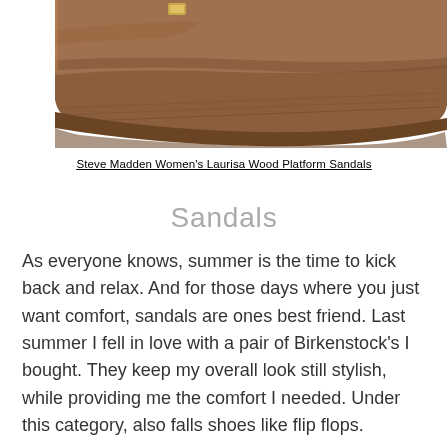[Figure (photo): Close-up photo of Steve Madden Women's Laurisa Wood Platform Sandals in tan/brown leather, showing the thick wooden platform sole and leather upper straps against a white background.]
Steve Madden Women's Laurisa Wood Platform Sandals
Sandals
As everyone knows, summer is the time to kick back and relax. And for those days where you just want comfort, sandals are ones best friend. Last summer I fell in love with a pair of Birkenstock's I bought. They keep my overall look still stylish, while providing me the comfort I needed. Under this category, also falls shoes like flip flops.